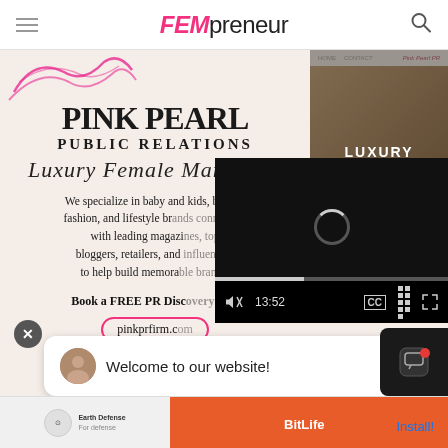FEMpreneur
[Figure (screenshot): Pink Pearl Public Relations promotional image with script font 'Luxury Female Marketing', body text about specializing in baby and kids, beauty, fashion, and lifestyle brands with leading magazines, bloggers, retailers, call to action 'Book a FREE PR Disc...' and pinkprfirm.com URL in pink oval. Right side shows website mockup with 'LUXURY FEMALE MARKETING' overlay on photo of blonde woman. A video player overlay covers part of the image showing a spinner and playback controls at 13:52.]
Welcome to our website!